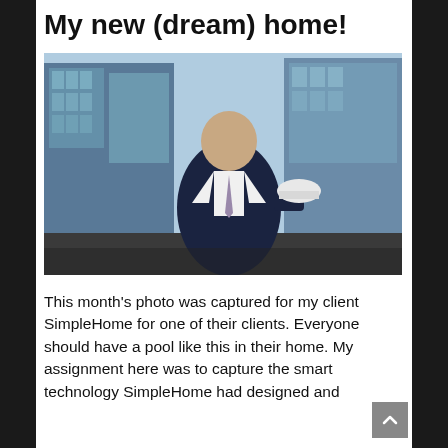My new (dream) home!
[Figure (photo): A man in a dark navy suit with a lavender tie holding a white hard hat, standing in front of large modern glass skyscrapers, photographed from a low angle looking up.]
This month's photo was captured for my client SimpleHome for one of their clients. Everyone should have a pool like this in their home. My assignment here was to capture the smart technology SimpleHome had designed and installed in this beautiful home, but...